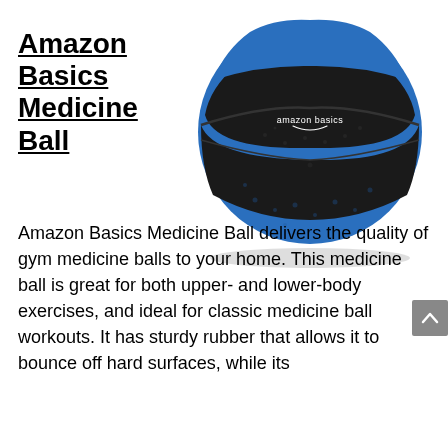Amazon Basics Medicine Ball
[Figure (photo): Amazon Basics Medicine Ball — blue and black rubber medicine ball with 'amazon basics' branding printed on the black band in the middle.]
Amazon Basics Medicine Ball delivers the quality of gym medicine balls to your home. This medicine ball is great for both upper- and lower-body exercises, and ideal for classic medicine ball workouts. It has sturdy rubber that allows it to bounce off hard surfaces, while its